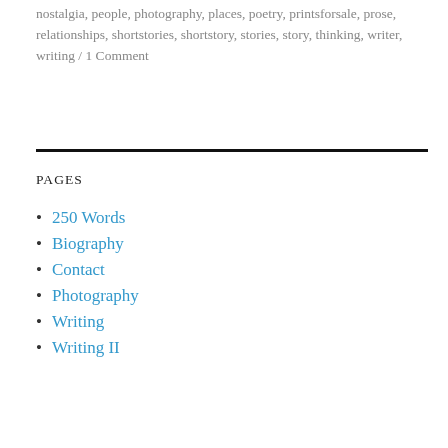nostalgia, people, photography, places, poetry, printsforsale, prose, relationships, shortstories, shortstory, stories, story, thinking, writer, writing / 1 Comment
PAGES
250 Words
Biography
Contact
Photography
Writing
Writing II